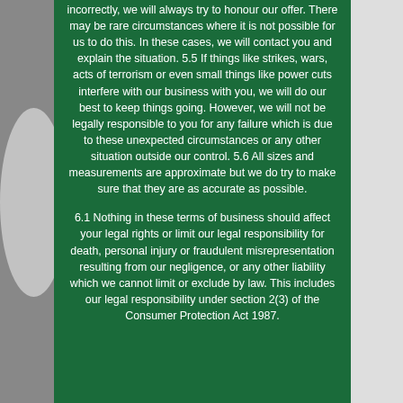incorrectly, we will always try to honour our offer. There may be rare circumstances where it is not possible for us to do this. In these cases, we will contact you and explain the situation. 5.5 If things like strikes, wars, acts of terrorism or even small things like power cuts interfere with our business with you, we will do our best to keep things going. However, we will not be legally responsible to you for any failure which is due to these unexpected circumstances or any other situation outside our control. 5.6 All sizes and measurements are approximate but we do try to make sure that they are as accurate as possible.
6.1 Nothing in these terms of business should affect your legal rights or limit our legal responsibility for death, personal injury or fraudulent misrepresentation resulting from our negligence, or any other liability which we cannot limit or exclude by law. This includes our legal responsibility under section 2(3) of the Consumer Protection Act 1987.